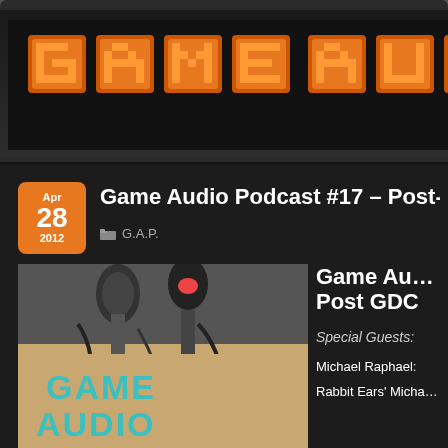[Figure (logo): Game Audio podcast logo banner with orange 3D pixel-style block letters spelling 'GAME AU...' on dark background]
Game Audio Podcast #17 – Post-G...
G.A.P.
[Figure (photo): Podcast thumbnail showing microphones and cables with 'GAME AUDIO' text in teal pixel-style letters on light background]
Game Au... Post GDC
Special Guests:
Michael Raphael:
Rabbit Ears' Micha...